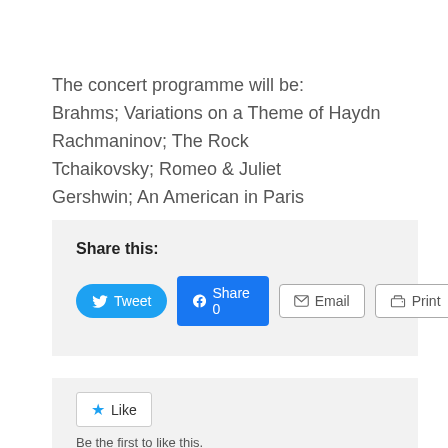The concert programme will be:
Brahms; Variations on a Theme of Haydn
Rachmaninov; The Rock
Tchaikovsky; Romeo & Juliet
Gershwin; An American in Paris
Share this:
Tweet  Share 0  Email  Print
Like
Be the first to like this.